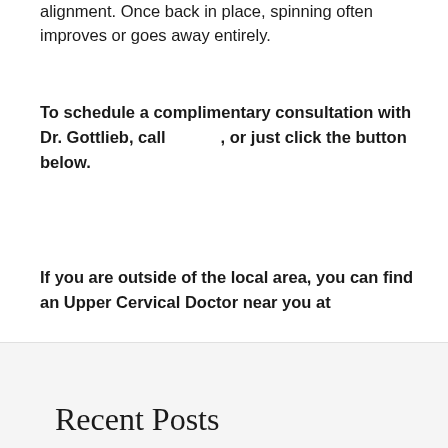alignment. Once back in place, spinning often improves or goes away entirely.
To schedule a complimentary consultation with Dr. Gottlieb, call , or just click the button below.
If you are outside of the local area, you can find an Upper Cervical Doctor near you at
.
Recent Posts